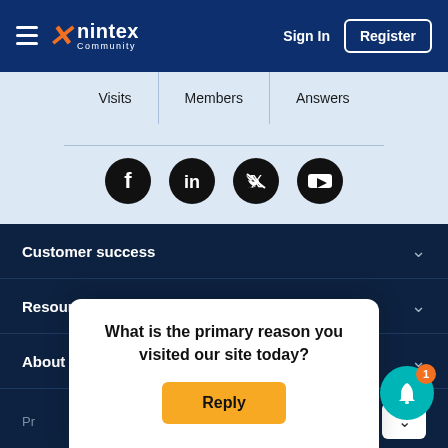Nintex Community — Sign In | Register
Visits | Members | Answers
[Figure (infographic): Social media icons: Facebook, LinkedIn, Twitter, YouTube]
Customer success
Resources
About Nintex
Pr...
What is the primary reason you visited our site today?
Reply